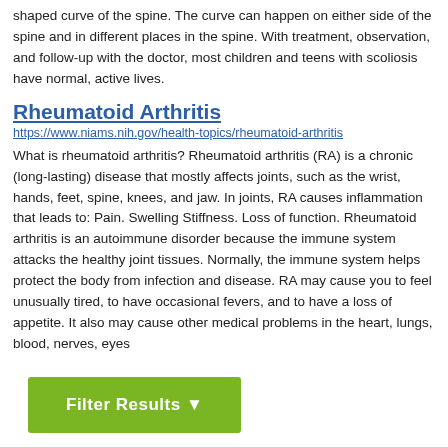shaped curve of the spine. The curve can happen on either side of the spine and in different places in the spine. With treatment, observation, and follow-up with the doctor, most children and teens with scoliosis have normal, active lives.
Rheumatoid Arthritis
https://www.niams.nih.gov/health-topics/rheumatoid-arthritis
What is rheumatoid arthritis? Rheumatoid arthritis (RA) is a chronic (long-lasting) disease that mostly affects joints, such as the wrist, hands, feet, spine, knees, and jaw. In joints, RA causes inflammation that leads to: Pain. Swelling Stiffness. Loss of function. Rheumatoid arthritis is an autoimmune disorder because the immune system attacks the healthy joint tissues. Normally, the immune system helps protect the body from infection and disease. RA may cause you to feel unusually tired, to have occasional fevers, and to have a loss of appetite. It also may cause other medical problems in the heart, lungs, blood, nerves, eyes
Filter Results